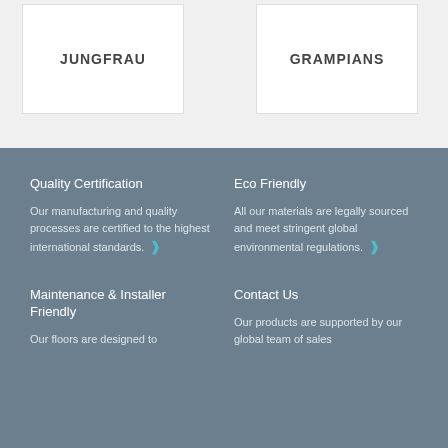JUNGFRAU
GRAMPIANS
Quality Certification
Our manufacturing and quality processes are certified to the highest international standards.
Eco Friendly
All our materials are legally sourced and meet stringent global environmental regulations.
Maintenance & Installer Friendly
Our floors are designed to
Contact Us
Our products are supported by our global team of sales